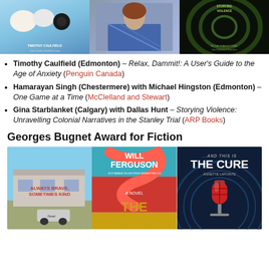[Figure (photo): Top banner showing three book covers: Timothy Caulfield's book with eggs/coffee, a person photo, and Storying Violence book]
Timothy Caulfield (Edmonton) – Relax, Dammit!: A User's Guide to the Age of Anxiety (Penguin Canada)
Hamarayan Singh (Chestermere) with Michael Hingston (Edmonton) – One Game at a Time (McClelland and Stewart)
Gina Starblanket (Calgary) with Dallas Hunt – Storying Violence: Unravelling Colonial Narratives in the Stanley Trial (ARP Books)
Georges Bugnet Award for Fiction
[Figure (photo): Bottom banner showing three book covers: Always Brave Sometimes Kind, Will Ferguson The Finder, and ...And This Is The Cure by Annette Lapointe]